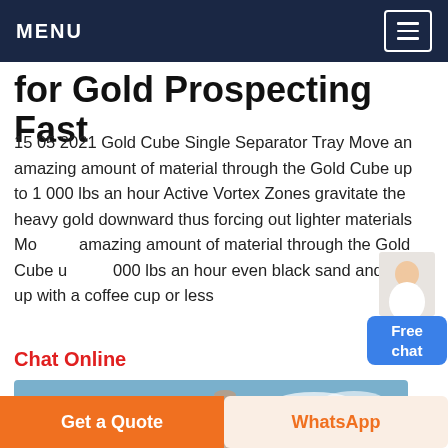MENU
for Gold Prospecting Fast
15 05 2021 Gold Cube Single Separator Tray Move an amazing amount of material through the Gold Cube up to 1 000 lbs an hour Active Vortex Zones gravitate the heavy gold downward thus forcing out lighter materials Move an amazing amount of material through the Gold Cube up to 1 000 lbs an hour even black sand and end up with a coffee cup or less
Chat Online
[Figure (photo): Industrial mining/processing plant facility with large structures, conveyor belts, silos and blue sky background]
Get a Quote | WhatsApp